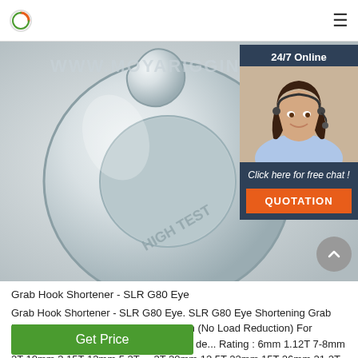www.moyarigging.com
[Figure (photo): Close-up photo of a galvanized steel SLR G80 Eye Grab Hook Shortener with 'HIGH TEST' embossed on it. Watermark text reads WWW.MOYARIGGING.COM]
[Figure (photo): 24/7 Online chat widget with agent photo and orange QUOTATION button]
Grab Hook Shortener - SLR G80 Eye
Grab Hook Shortener - SLR G80 Eye. SLR G80 Eye Shortening Grab Hook. With Cradle to support load chain (No Load Reduction) For Certificates Click 'DOWNLOADS'. More de... Rating : 6mm 1.12T 7-8mm 2T 10mm 3.15T 13mm 5.3T ...3T 20mm 12.5T 22mm 15T 26mm 21.2T. Availability:
Get Price